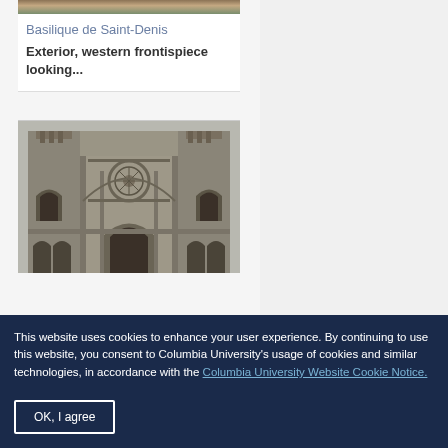[Figure (photo): Top portion of a photo of Basilique de Saint-Denis exterior, cropped at top of page]
Basilique de Saint-Denis
Exterior, western frontispiece looking...
[Figure (photo): Photo of a Gothic cathedral facade with rose window, pointed arches, and stone towers - Basilique de Saint-Denis western frontispiece]
This website uses cookies to enhance your user experience. By continuing to use this website, you consent to Columbia University's usage of cookies and similar technologies, in accordance with the Columbia University Website Cookie Notice.
OK, I agree